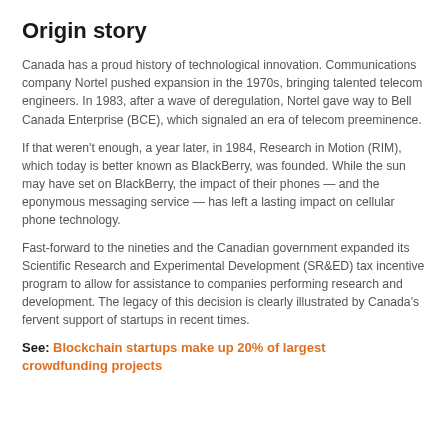Origin story
Canada has a proud history of technological innovation. Communications company Nortel pushed expansion in the 1970s, bringing talented telecom engineers. In 1983, after a wave of deregulation, Nortel gave way to Bell Canada Enterprise (BCE), which signaled an era of telecom preeminence.
If that weren't enough, a year later, in 1984, Research in Motion (RIM), which today is better known as BlackBerry, was founded. While the sun may have set on BlackBerry, the impact of their phones — and the eponymous messaging service — has left a lasting impact on cellular phone technology.
Fast-forward to the nineties and the Canadian government expanded its Scientific Research and Experimental Development (SR&ED) tax incentive program to allow for assistance to companies performing research and development. The legacy of this decision is clearly illustrated by Canada's fervent support of startups in recent times.
See:  Blockchain startups make up 20% of largest crowdfunding projects